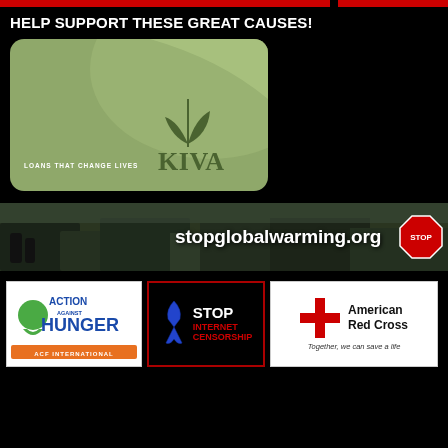HELP SUPPORT THESE GREAT CAUSES!
[Figure (logo): KIVA card logo — green rounded rectangle card with wave design, text 'LOANS THAT CHANGE LIVES' and 'KIVA' with a leaf sprout icon]
[Figure (photo): stopglobalwarming.org banner — photo of traffic/city scene with text 'stopglobalwarming.org' and a stop sign icon on right]
[Figure (logo): Action Against Hunger / ACF International logo — green and blue logo with sun/hand graphic]
[Figure (logo): Stop Internet Censorship banner — black background with blue awareness ribbon, red text 'STOP INTERNET CENSORSHIP']
[Figure (logo): American Red Cross logo — red cross symbol with text 'American Red Cross' and tagline 'Together, we can save a life']